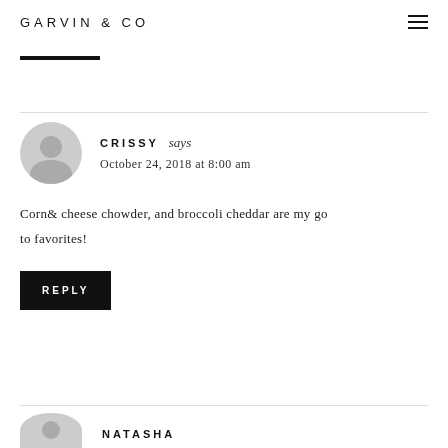GARVIN & CO
CRISSY says
October 24, 2018 at 8:00 am
Corn& cheese chowder, and broccoli cheddar are my go to favorites!
REPLY
NATASHA